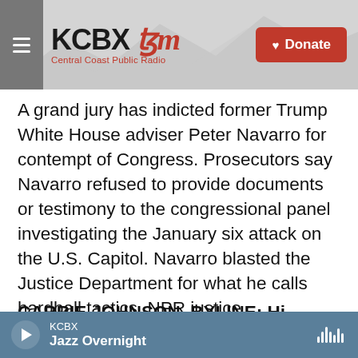KCBX FM - Central Coast Public Radio
A grand jury has indicted former Trump White House adviser Peter Navarro for contempt of Congress. Prosecutors say Navarro refused to provide documents or testimony to the congressional panel investigating the January six attack on the U.S. Capitol. Navarro blasted the Justice Department for what he calls hardball tactics. NPR justice correspondent Carrie Johnson has been following the case, and she's here with us now to break it down for us. Hey, Carrie.
CARRIE JOHNSON, BYLINE: Hi, Ailsa.
KCBX - Jazz Overnight